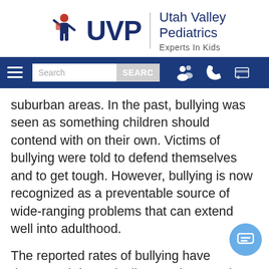[Figure (logo): Utah Valley Pediatrics logo with UVP text and figure of a child, tagline: Experts In Kids]
[Figure (screenshot): Navigation bar with hamburger menu, search box with SEARCH button, and icons for patient portal, phone, and bill pay]
suburban areas. In the past, bullying was seen as something children should contend with on their own. Victims of bullying were told to defend themselves and to get tough. However, bullying is now recognized as a preventable source of wide-ranging problems that can extend well into adulthood.
The reported rates of bullying have decreased dramatically over the past three decades. However, one in five children on average still report being bullied in one way or another. The decline in bullying at school